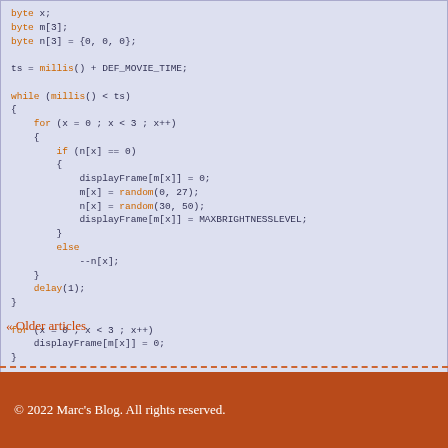byte x;
byte m[3];
byte n[3] = {0, 0, 0};

ts = millis() + DEF_MOVIE_TIME;

while (millis() < ts)
{
    for (x = 0 ; x < 3 ; x++)
    {
        if (n[x] == 0)
        {
            displayFrame[m[x]] = 0;
            m[x] = random(0, 27);
            n[x] = random(30, 50);
            displayFrame[m[x]] = MAXBRIGHTNESSLEVEL;
        }
        else
            --n[x];
    }
    delay(1);
}

for (x = 0 ; x < 3 ; x++)
    displayFrame[m[x]] = 0;
}
« Older articles
© 2022 Marc's Blog. All rights reserved.